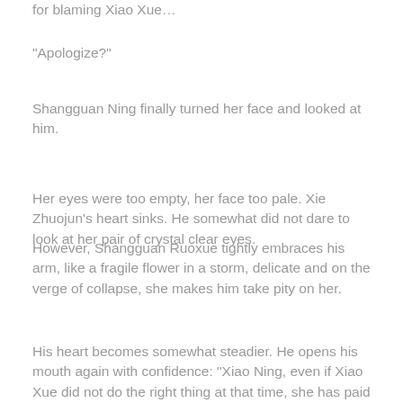for blaming Xiao Xue…
“Apologize?”
Shangguan Ning finally turned her face and looked at him.
Her eyes were too empty, her face too pale. Xie Zhuojun’s heart sinks. He somewhat did not dare to look at her pair of crystal clear eyes.
However, Shangguan Ruoxue tightly embraces his arm, like a fragile flower in a storm, delicate and on the verge of collapse, she makes him take pity on her.
His heart becomes somewhat steadier. He opens his mouth again with confidence: “Xiao Ning, even if Xiao Xue did not do the right thing at that time, she has paid you back enough these four years. She has been living in remorse and guilt. Her pain is no less than yours. St…